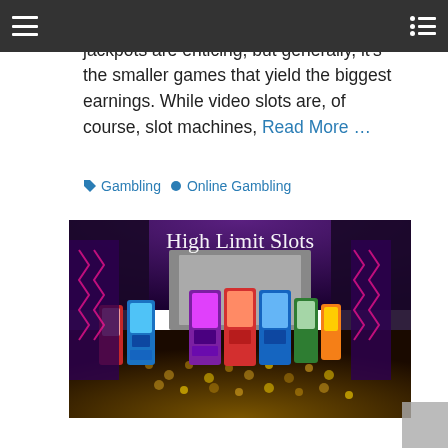[navigation bar with hamburger menu and list icon]
Online casino games regularly impress many people. Online slots are fun, and their jackpots are enticing, but generally, it's the smaller games that yield the biggest earnings. While video slots are, of course, slot machines, Read More …
🏷 Gambling  🏷 Online Gambling
[Figure (photo): Interior of a casino High Limit Slots room with rows of colorful slot machines, purple and gold decor, and a sign reading 'High Limit Slots' in cursive script.]